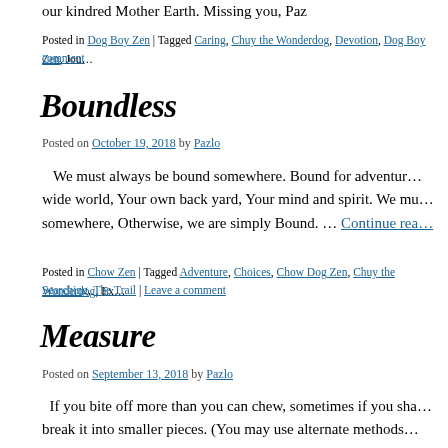our kindred Mother Earth.  Missing you,  Paz
Posted in Dog Boy Zen | Tagged Caring, Chuy the Wonderdog, Devotion, Dog Boy Zen, Jou… comment
Boundless
Posted on October 19, 2018 by Pazlo
We must always be bound somewhere. Bound for adventur… wide world, Your own back yard, Your mind and spirit. We mu… somewhere, Otherwise, we are simply Bound. … Continue rea…
Posted in Chow Zen | Tagged Adventure, Choices, Chow Dog Zen, Chuy the Wonderdog, Ex… Searching, The Trail | Leave a comment
Measure
Posted on September 13, 2018 by Pazlo
If you bite off more than you can chew, sometimes if you sha… break it into smaller pieces. (You may use alternate methods…